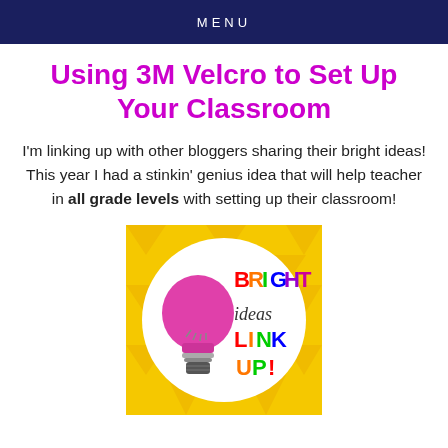MENU
Using 3M Velcro to Set Up Your Classroom
I'm linking up with other bloggers sharing their bright ideas! This year I had a stinkin' genius idea that will help teacher in all grade levels with setting up their classroom!
[Figure (logo): Bright Ideas Link Up logo — colorful text on white circle with yellow geometric background and pink lightbulb illustration]